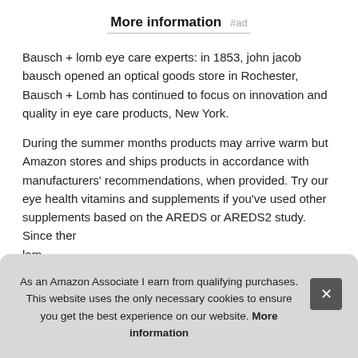More information #ad
Bausch + lomb eye care experts: in 1853, john jacob bausch opened an optical goods store in Rochester, Bausch + Lomb has continued to focus on innovation and quality in eye care products, New York.
During the summer months products may arrive warm but Amazon stores and ships products in accordance with manufacturers' recommendations, when provided. Try our eye health vitamins and supplements if you've used other supplements based on the AREDS or AREDS2 study. Since ther lom and hea
As an Amazon Associate I earn from qualifying purchases. This website uses the only necessary cookies to ensure you get the best experience on our website. More information